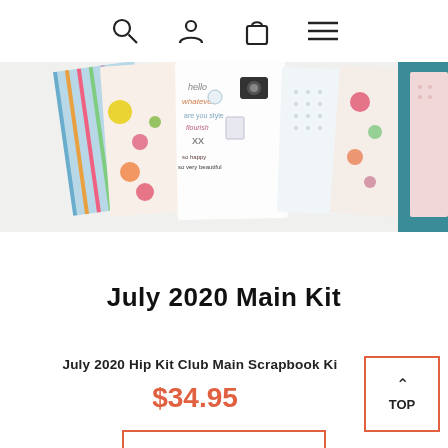Navigation icons: search, account, cart, menu
[Figure (photo): Scrapbook kit product photo showing colorful patterned papers, stickers, and embellishments fanned out]
July 2020 Main Kit
July 2020 Hip Kit Club Main Scrapbook Ki...
$34.95